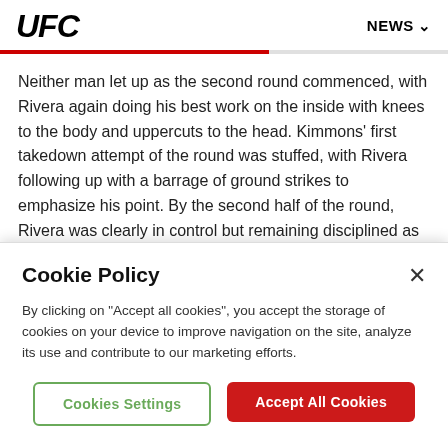UFC | NEWS
Neither man let up as the second round commenced, with Rivera again doing his best work on the inside with knees to the body and uppercuts to the head. Kimmons' first takedown attempt of the round was stuffed, with Rivera following up with a barrage of ground strikes to emphasize his point. By the second half of the round, Rivera was clearly in control but remaining disciplined as he looked to lower the boom, but as the fighters stood in the final seconds, Kimmons showed he
Cookie Policy
By clicking on "Accept all cookies", you accept the storage of cookies on your device to improve navigation on the site, analyze its use and contribute to our marketing efforts.
Cookies Settings
Accept All Cookies